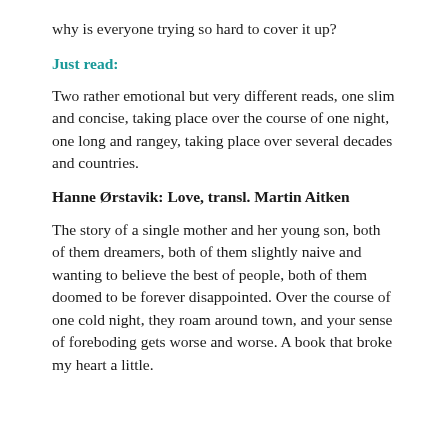why is everyone trying so hard to cover it up?
Just read:
Two rather emotional but very different reads, one slim and concise, taking place over the course of one night, one long and rangey, taking place over several decades and countries.
Hanne Ørstavik: Love, transl. Martin Aitken
The story of a single mother and her young son, both of them dreamers, both of them slightly naive and wanting to believe the best of people, both of them doomed to be forever disappointed. Over the course of one cold night, they roam around town, and your sense of foreboding gets worse and worse. A book that broke my heart a little.